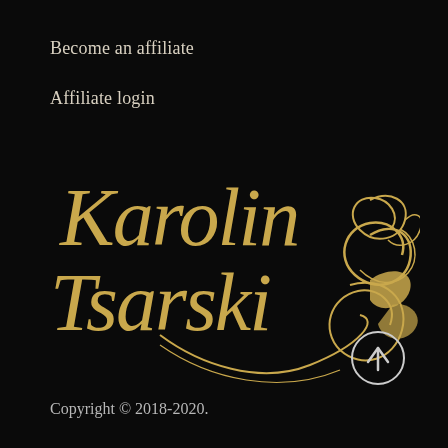Become an affiliate
Affiliate login
[Figure (logo): Karolin Tsarski brand logo in gold calligraphic script with ornamental flourishes on black background]
[Figure (other): White circle with upward arrow icon (scroll to top button)]
Copyright © 2018-2020.